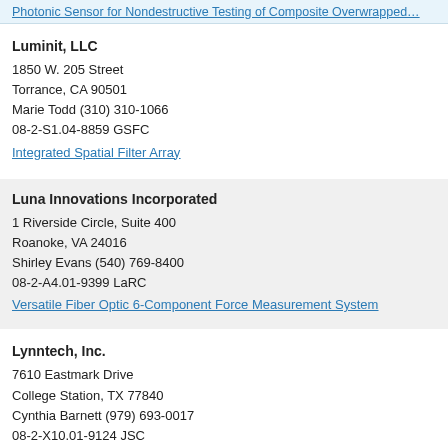Photonic Sensor for Nondestructive Testing of Composite Overwrapped…
Luminit, LLC
1850 W. 205 Street
Torrance, CA 90501
Marie Todd (310) 310-1066
08-2-S1.04-8859 GSFC
Integrated Spatial Filter Array
Luna Innovations Incorporated
1 Riverside Circle, Suite 400
Roanoke, VA 24016
Shirley Evans (540) 769-8400
08-2-A4.01-9399 LaRC
Versatile Fiber Optic 6-Component Force Measurement System
Lynntech, Inc.
7610 Eastmark Drive
College Station, TX 77840
Cynthia Barnett (979) 693-0017
08-2-X10.01-9124 JSC
Portable Cathode-Air-Vapor-Feed Electrochemical Medical Oxygen Conce…
Lynntech, Inc.